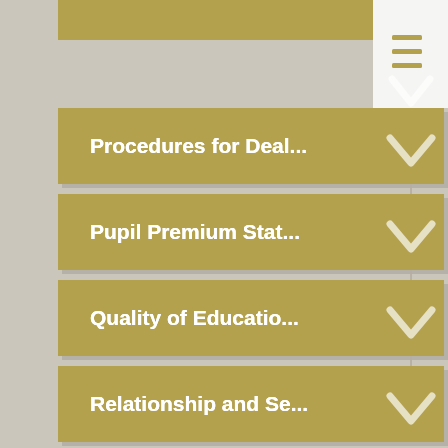[Figure (flowchart): A vertical flowchart showing a navigation menu with four gold/khaki colored rectangular buttons connected by downward arrows. A hamburger menu icon appears in the top-right corner. The buttons are labeled: 'Procedures for Deal...', 'Pupil Premium Stat...', 'Quality of Educatio...', 'Relationship and Se...']
Procedures for Deal...
Pupil Premium Stat...
Quality of Educatio...
Relationship and Se...